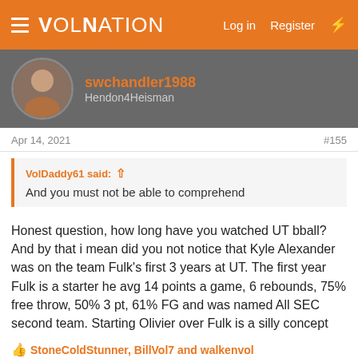VolNation   Log in   Register
swchandler1988
Hendon4Heisman
Apr 14, 2021   #155
VolDaddy61 said: ↑
And you must not be able to comprehend
Honest question, how long have you watched UT bball? And by that i mean did you not notice that Kyle Alexander was on the team Fulk's first 3 years at UT. The first year Fulk is a starter he avg 14 points a game, 6 rebounds, 75% free throw, 50% 3 pt, 61% FG and was named All SEC second team. Starting Olivier over Fulk is a silly concept
StoneColdStunner, BillVol7 and walkenvol
Thunder Good-Oil